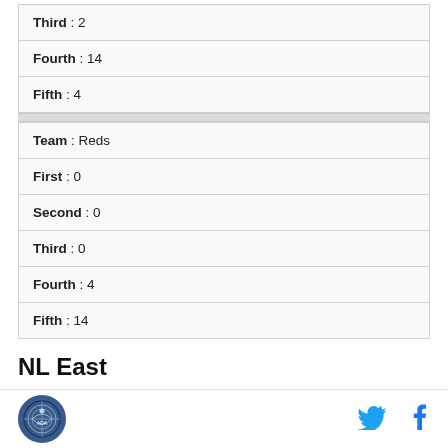| Third : 2 |
| Fourth : 14 |
| Fifth : 4 |
| Team : Reds |
| First : 0 |
| Second : 0 |
| Third : 0 |
| Fourth : 4 |
| Fifth : 14 |
NL East
Logo | Twitter | Facebook